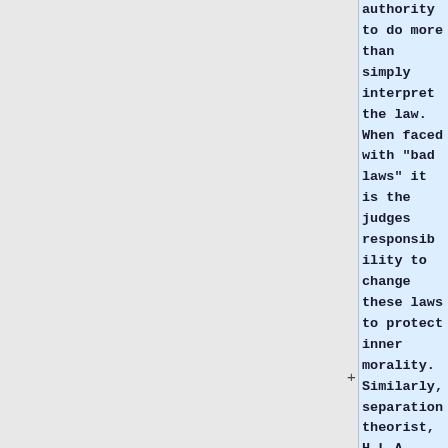authority to do more than simply interpret the law. When faced with "bad laws" it is the judges responsibility to change these laws to protect inner morality. Similarly, separation theorist, H.L.A. Heart, also expands the